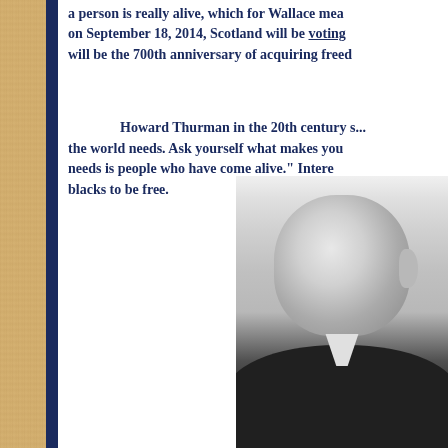a person is really alive, which for Wallace means... on September 18, 2014, Scotland will be voting... will be the 700th anniversary of acquiring freed...
Howard Thurman in the 20th century s... the world needs. Ask yourself what makes you... needs is people who have come alive." Interes... blacks to be free.
[Figure (photo): Black and white photograph of Howard Thurman, showing head and shoulders, man with close-cropped hair wearing a dark suit]